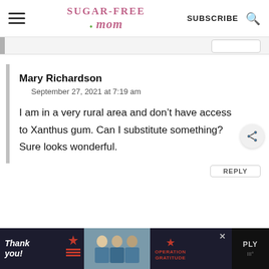Sugar-Free Mom — SUBSCRIBE
Mary Richardson
September 27, 2021 at 7:19 am
I am in a very rural area and don't have access to Xanthus gum. Can I substitute something? Sure looks wonderful.
[Figure (screenshot): Advertisement banner at the bottom: 'Thank you!' text with Operation Gratitude logo and photo of medical workers]
REPLY